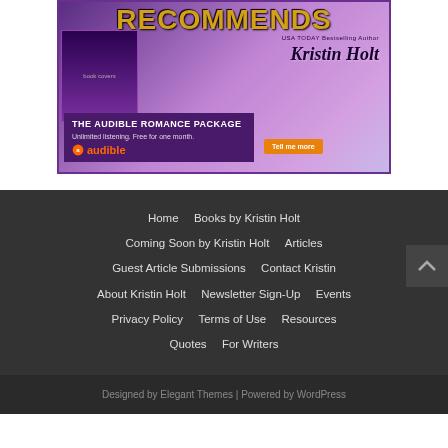[Figure (illustration): Audible Romance Package advertisement banner featuring Kristin Holt recommendation. Purple/violet background with 'RECOMMENDS' in gold text, author name 'Kristin Holt' in script, Audible logo, orange 'Tell me more' button, and text 'THE AUDIBLE ROMANCE PACKAGE - Unlimited listening. Free for one month.']
Home | Books by Kristin Holt | Coming Soon by Kristin Holt | Articles | Guest Article Submissions | Contact Kristin | About Kristin Holt | Newsletter Sign-Up | Events | Privacy Policy | Terms of Use | Resources | Quotes | For Writers
Designed by Elegant Themes | Powered by WordPress